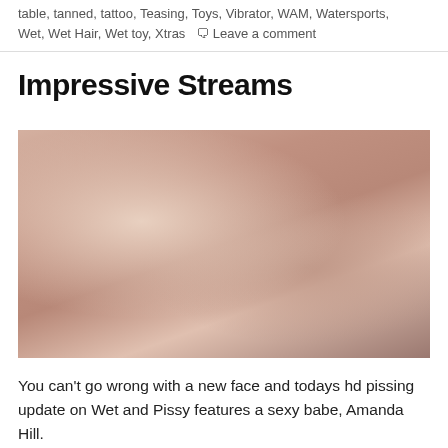table, tanned, tattoo, Teasing, Toys, Vibrator, WAM, Watersports, Wet, Wet Hair, Wet toy, Xtras  Leave a comment
Impressive Streams
[Figure (photo): A woman with reddish-brown hair wearing a pink beaded necklace and bracelet, photographed in an explicit adult content scene.]
You can’t go wrong with a new face and todays hd pissing update on Wet and Pissy features a sexy babe, Amanda Hill.